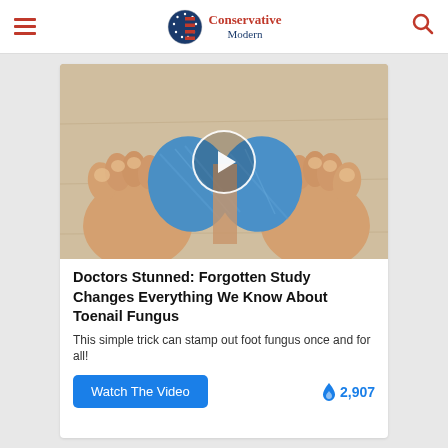Conservative Modern
[Figure (photo): Close-up photo of human feet with blue bandage/wrap between the toes, viewed from above on a light wooden surface. A white circular play button overlay is centered on the image.]
Doctors Stunned: Forgotten Study Changes Everything We Know About Toenail Fungus
This simple trick can stamp out foot fungus once and for all!
Watch The Video  🔥 2,907